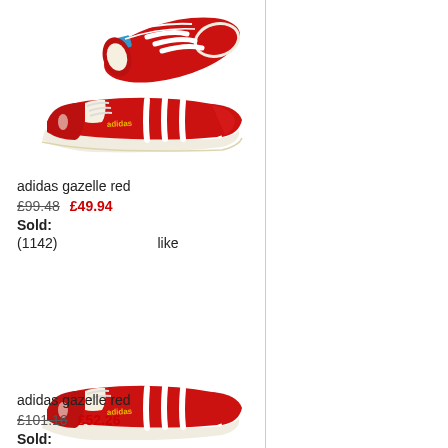[Figure (photo): Two red Adidas Gazelle sneakers shown from top view (top shoe) and side profile (bottom shoe). Red suede with white stripes and cream sole.]
adidas gazelle red
£99.48  £49.94
Sold:
(1142)   like
[Figure (photo): Second red Adidas Gazelle sneaker product image (partially visible).]
adidas gazelle red
£101.16  £52.26
Sold: